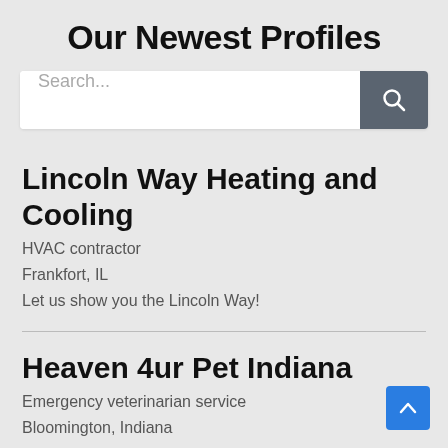Our Newest Profiles
[Figure (screenshot): Search bar with text input and a dark grey search button with magnifying glass icon]
Lincoln Way Heating and Cooling
HVAC contractor
Frankfort, IL
Let us show you the Lincoln Way!
Heaven 4ur Pet Indiana
Emergency veterinarian service
Bloomington, Indiana